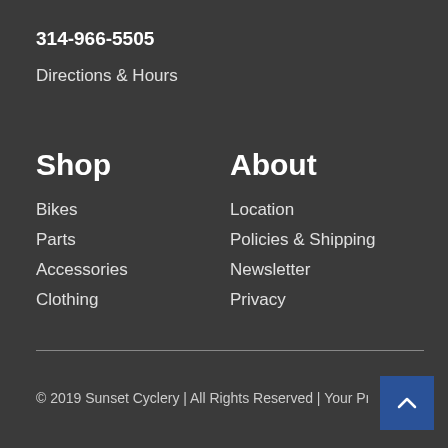314-966-5505
Directions & Hours
Shop
Bikes
Parts
Accessories
Clothing
About
Location
Policies & Shipping
Newsletter
Privacy
© 2019 Sunset Cyclery | All Rights Reserved | Your Pri